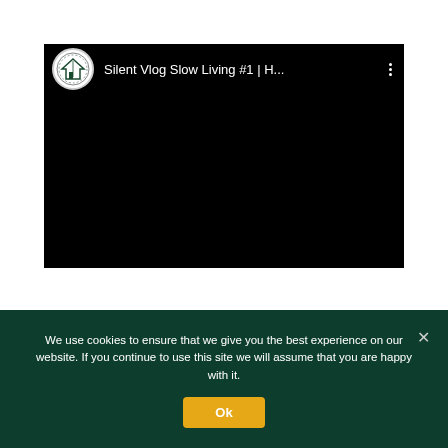[Figure (screenshot): YouTube embedded video player showing 'Silent Vlog Slow Living #1 | H...' with a circular channel logo on the left, video title in white text on black background, three-dot menu icon on the right, and a black video area below the header bar.]
We use cookies to ensure that we give you the best experience on our website. If you continue to use this site we will assume that you are happy with it.
Ok